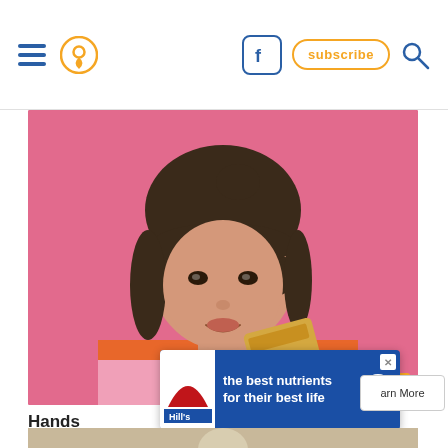Navigation bar with hamburger menu, location pin icon, Facebook button, subscribe button, search icon
[Figure (photo): Young woman with dark hair in a bun and bangs, wearing an orange and pink striped top, holding a gold/tan credit card up near her face, against a pink background. There is an X close button in the lower right of the image.]
Hands
Compare
[Figure (infographic): Hill's pet food advertisement banner with blue background. Hill's logo on left white panel. Text reads: 'the best nutrients for their best life'. Play button on right. X close button top right. 'Learn More' button to the right of banner.]
[Figure (photo): Partial bottom image strip showing a tan/beige surface, likely another photo beginning to appear.]